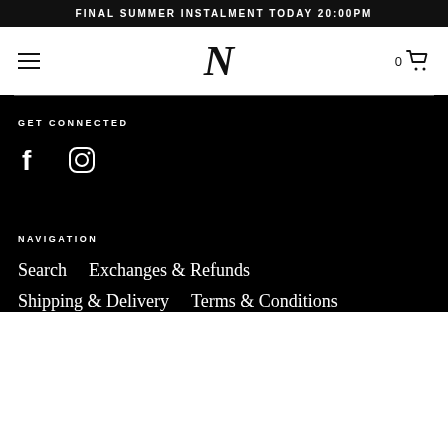FINAL SUMMER INSTALMENT TODAY 20:00PM
[Figure (logo): Stylized letter N logo for a fashion brand, with hamburger menu icon on left and shopping cart icon on right showing 0 items]
GET CONNECTED
[Figure (infographic): Social media icons: Facebook (f) and Instagram (camera outline circle)]
NAVIGATION
Search    Exchanges & Refunds
Shipping & Delivery    Terms & Conditions